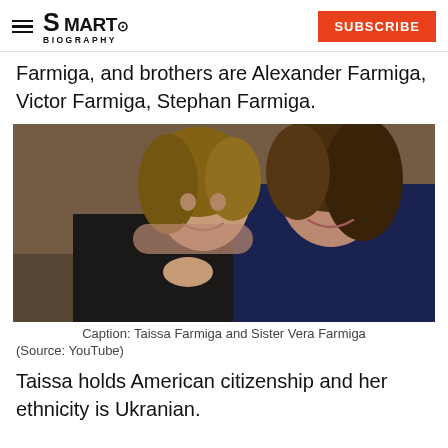SMARTO BIOGRAPHY | SUBSCRIBE
Farmiga, and brothers are Alexander Farmiga, Victor Farmiga, Stephan Farmiga.
[Figure (photo): Two women smiling and posing together — Taissa Farmiga and Sister Vera Farmiga, seated on a couch]
Caption: Taissa Farmiga and Sister Vera Farmiga
(Source: YouTube)
Taissa holds American citizenship and her ethnicity is Ukranian.